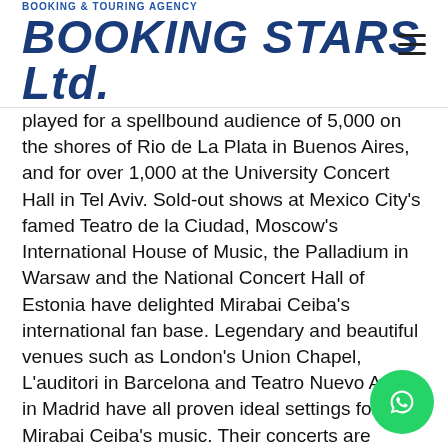BOOKING & TOURING AGENCY BOOKING STARS Ltd.
played for a spellbound audience of 5,000 on the shores of Rio de La Plata in Buenos Aires, and for over 1,000 at the University Concert Hall in Tel Aviv. Sold-out shows at Mexico City's famed Teatro de la Ciudad, Moscow's International House of Music, the Palladium in Warsaw and the National Concert Hall of Estonia have delighted Mirabai Ceiba's international fan base. Legendary and beautiful venues such as London's Union Chapel, L'auditori in Barcelona and Teatro Nuevo Apolo in Madrid have all proven ideal settings for Mirabai Ceiba's music. Their concerts are joyous and loving occasions that embody the duo's profound belief in music as a universal language, uniting all the world's peoples, cultures and traditions.
“Where language stops, music begins,” says Markus. “We go to Argentina and sing there, and two months later we’re in Amsterdam singing the same songs and people connect with them in a similar way. It’s truly beautiful and in…
“We wish to create this space where people can come to a…